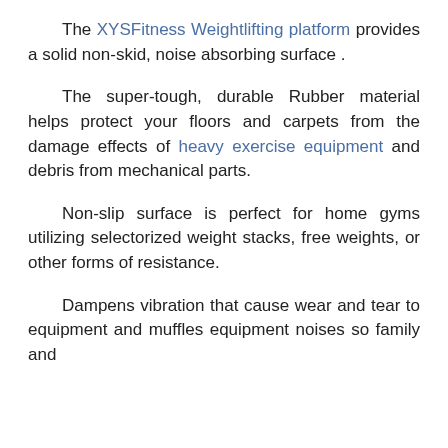The XYSFitness Weightlifting platform provides a solid non-skid, noise absorbing surface .
The super-tough, durable Rubber material helps protect your floors and carpets from the damage effects of heavy exercise equipment and debris from mechanical parts.
Non-slip surface is perfect for home gyms utilizing selectorized weight stacks, free weights, or other forms of resistance.
Dampens vibration that cause wear and tear to equipment and muffles equipment noises so family and